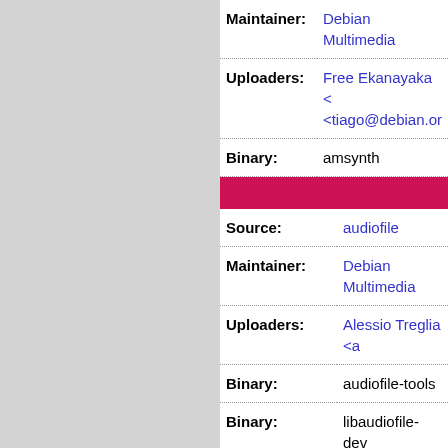| Maintainer: | Debian Multimedia... |
| Uploaders: | Free Ekanayaka <...
<tiago@debian.or... |
| Binary: | amsynth |
| Source: | audiofile |
| Maintainer: | Debian Multimedia... |
| Uploaders: | Alessio Treglia <a... |
| Binary: | audiofile-tools |
| Binary: | libaudiofile-dev |
| Binary: | libaudiofile1 |
| Source: | bristol |